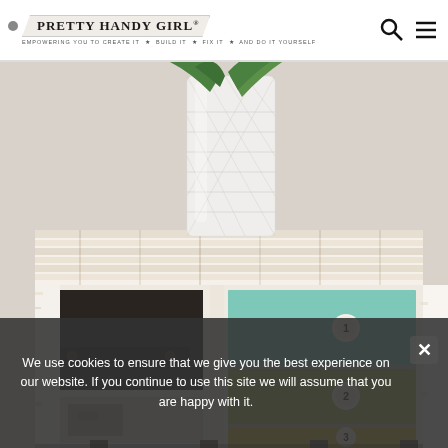PRETTY HANDY GIRL® — EMPOWERING YOU TO CREATE IT ★ BUILD IT ★ FIX IT ★ AND DO IT YOURSELF
[Figure (photo): Distressed white-painted dresser with colorful drawers (teal, green, yellow) numbered 1, 2, 3, with a white vase holding a green plant on top, photographed in a home interior.]
We use cookies to ensure that we give you the best experience on our website. If you continue to use this site we will assume that you are happy with it.